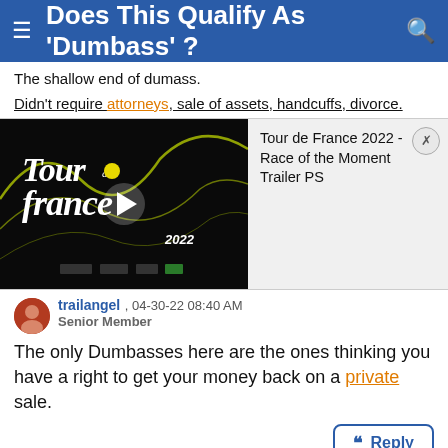Does This Qualify As 'Dumbass'?
The shallow end of dumass.
Didn't require attorneys, sale of assets, handcuffs, divorce.
[Figure (screenshot): Tour de France 2022 video thumbnail with play button and logo, alongside info panel showing title 'Tour de France 2022 - Race of the Moment Trailer PS' with a close button]
trailangel , 04-30-22 08:40 AM
Senior Member
The only Dumbasses here are the ones thinking you have a right to get your money back on a private sale.
Reply
Miradaman , 04-30-22 10:18 AM
#23